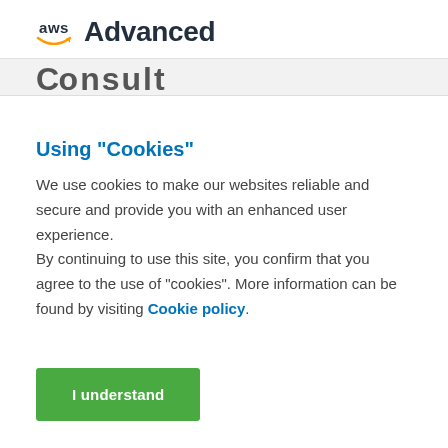aws Advanced
Using "Cookies"
We use cookies to make our websites reliable and secure and provide you with an enhanced user experience.
By continuing to use this site, you confirm that you agree to the use of "cookies". More information can be found by visiting Cookie policy.
I understand